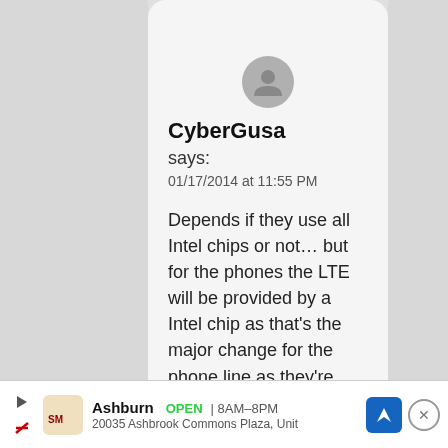[Figure (illustration): User avatar: gray circle with a generic person silhouette icon]
CyberGusa
says:
01/17/2014 at 11:55 PM
Depends if they use all Intel chips or not… but for the phones the LTE will be provided by a Intel chip as that's the major change for the phone line as they're finally
[Figure (screenshot): Advertisement banner: Smoothie King store in Ashburn, OPEN 8AM-8PM, 20035 Ashbrook Commons Plaza, Unit, with navigation arrow icon and close button]